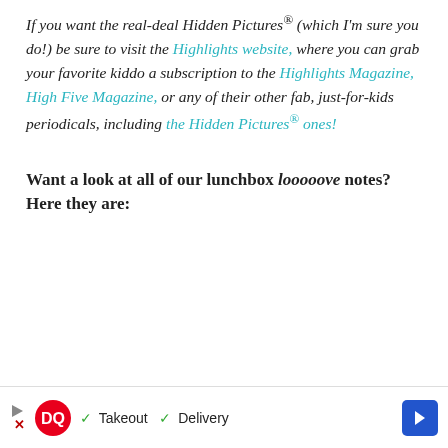If you want the real-deal Hidden Pictures® (which I'm sure you do!) be sure to visit the Highlights website, where you can grab your favorite kiddo a subscription to the Highlights Magazine, High Five Magazine, or any of their other fab, just-for-kids periodicals, including the Hidden Pictures® ones!
Want a look at all of our lunchbox looooove notes? Here they are:
[Figure (other): Dairy Queen advertisement banner with DQ logo, checkmarks for Takeout and Delivery, and a blue navigation arrow button]